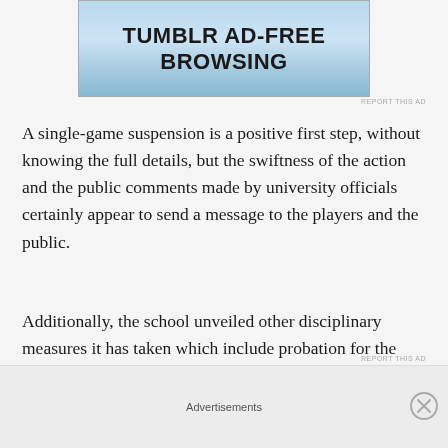[Figure (illustration): Tumblr Ad-Free Browsing advertisement banner with light blue gradient background]
A single-game suspension is a positive first step, without knowing the full details, but the swiftness of the action and the public comments made by university officials certainly appear to send a message to the players and the public.
Additionally, the school unveiled other disciplinary measures it has taken which include probation for the entire team in which other violations could bring steeper penalties, mandatory community service and, perhaps most importantly, weekly team alcohol education
Advertisements